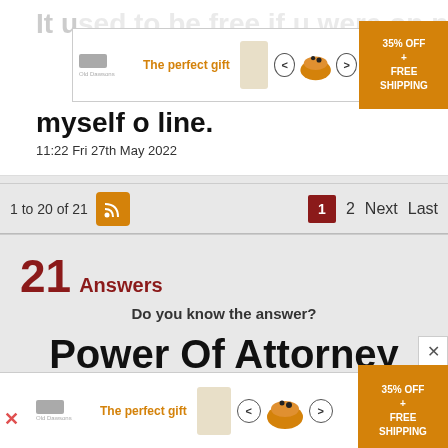It used to be free if u were on pension cred myself o line.
11:22 Fri 27th May 2022
1 to 20 of 21
1  2  Next  Last
21 Answers
Do you know the answer?
Power Of Attorney